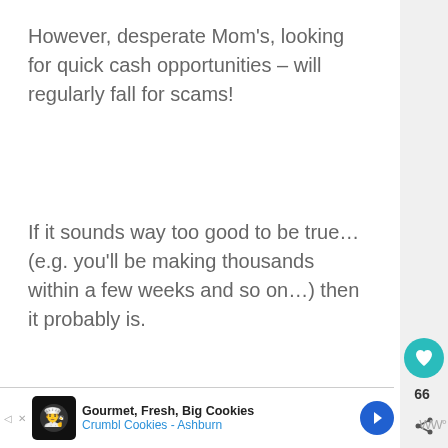However, desperate Mom’s, looking for quick cash opportunities – will regularly fall for scams!
If it sounds way too good to be true… (e.g. you’ll be making thousands within a few weeks and so on…) then it probably is.
[Figure (screenshot): Purple advertisement banner showing 'CHANGE A LIFE' text in bold white italic font with shadow effect]
[Figure (screenshot): Bottom ad bar for Gourmet Fresh Big Cookies - Crumbl Cookies Ashburn with logo and navigation arrows]